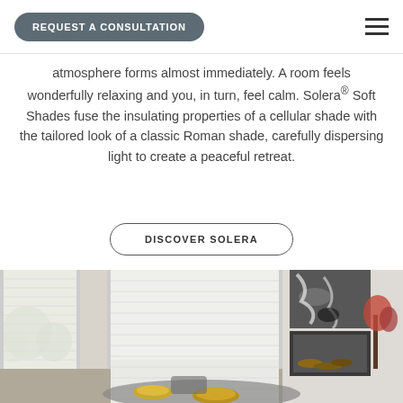REQUEST A CONSULTATION
atmosphere forms almost immediately. A room feels wonderfully relaxing and you, in turn, feel calm. Solera® Soft Shades fuse the insulating properties of a cellular shade with the tailored look of a classic Roman shade, carefully dispersing light to create a peaceful retreat.
DISCOVER SOLERA
[Figure (photo): Interior room photo showing white cellular/soft shades on tall windows, with a fireplace, abstract black and white artwork, and dining table with gold dishes in foreground]